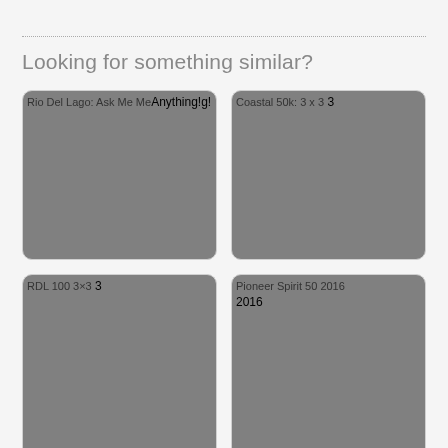Looking for something similar?
[Figure (screenshot): Card showing 'Rio Del Lago: Ask Me Anything!' with broken image thumbnail, grey background, rounded corners]
[Figure (screenshot): Card showing 'Coastal 50k: 3 x 3' with broken image thumbnail, grey background, rounded corners]
[Figure (screenshot): Card showing 'RDL 100 3x3' with broken image thumbnail, grey background, rounded corners]
[Figure (screenshot): Card showing 'Pioneer Spirit 50 2016' with broken image thumbnail, grey background, rounded corners]